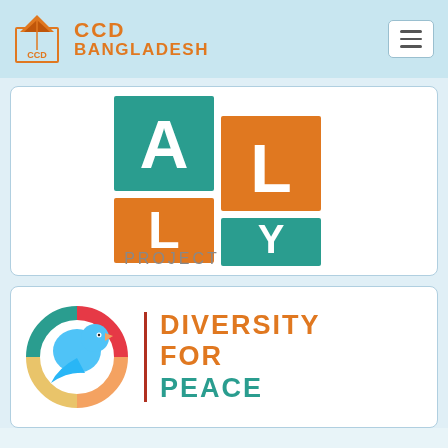CCD BANGLADESH
[Figure (logo): ALLY Project logo: four colored squares (teal and orange) arranged in a 2x2 grid with letters A, L, L, Y and the word PROJECT below]
[Figure (logo): Diversity for Peace logo: colorful bird/dove encircled with flame-colored arcs, with DIVERSITY FOR PEACE text in orange and teal]